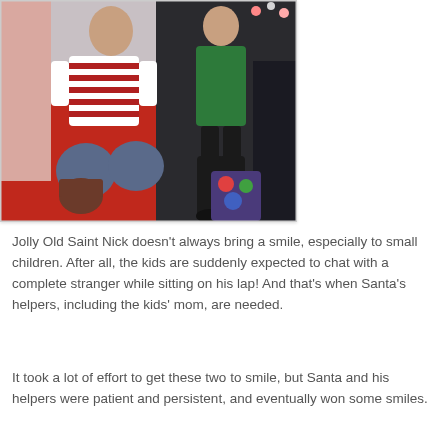[Figure (photo): Photo of people on a red carpet at a Santa photo event. A woman in a red and white striped shirt is kneeling on the red floor, and another person in a green top and black boots stands nearby. Dark curtains are visible in the background.]
Jolly Old Saint Nick doesn't always bring a smile, especially to small children. After all, the kids are suddenly expected to chat with a complete stranger while sitting on his lap! And that's when Santa's helpers, including the kids' mom, are needed.
It took a lot of effort to get these two to smile, but Santa and his helpers were patient and persistent, and eventually won some smiles.